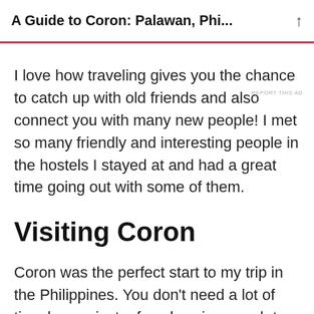A Guide to Coron: Palawan, Phi...
REPORT THIS AD
I love how traveling gives you the chance to catch up with old friends and also connect you with many new people! I met so many friendly and interesting people in the hostels I stayed at and had a great time going out with some of them.
Visiting Coron
Coron was the perfect start to my trip in the Philippines. You don't need a lot of time here – just a few days is enough to see